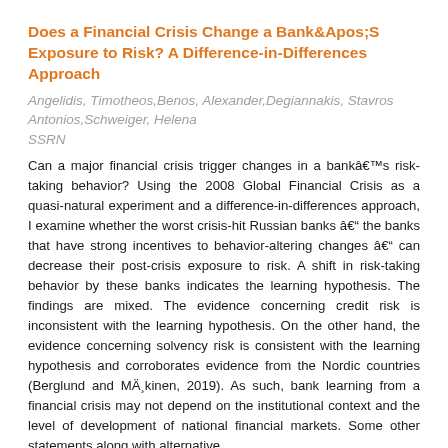Does a Financial Crisis Change a Bank&Apos;S Exposure to Risk? A Difference-in-Differences Approach
Angelidis, Timotheos,Benos, Alexander,Degiannakis, Stavros Antonios,Schweiger, Helena
SSRN
Can a major financial crisis trigger changes in a bank’s risk-taking behavior? Using the 2008 Global Financial Crisis as a quasi-natural experiment and a difference-in-differences approach, I examine whether the worst crisis-hit Russian banks – the banks that have strong incentives to behavior-altering changes – can decrease their post-crisis exposure to risk. A shift in risk-taking behavior by these banks indicates the learning hypothesis. The findings are mixed. The evidence concerning credit risk is inconsistent with the learning hypothesis. On the other hand, the evidence concerning solvency risk is consistent with the learning hypothesis and corroborates evidence from the Nordic countries (Berglund and Mäkinen, 2019). As such, bank learning from a financial crisis may not depend on the institutional context and the level of development of national financial markets. Some other statements along with alternative...